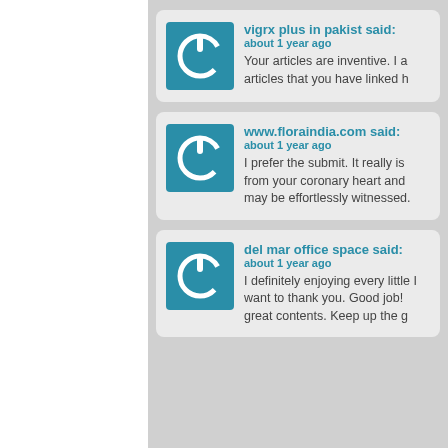vigrx plus in pakist said: about 1 year ago — Your articles are inventive. I a articles that you have linked h
www.floraindia.com said: about 1 year ago — I prefer the submit. It really is from your coronary heart and may be effortlessly witnessed.
del mar office space said: about 1 year ago — I definitely enjoying every little I want to thank you. Good job! great contents. Keep up the g